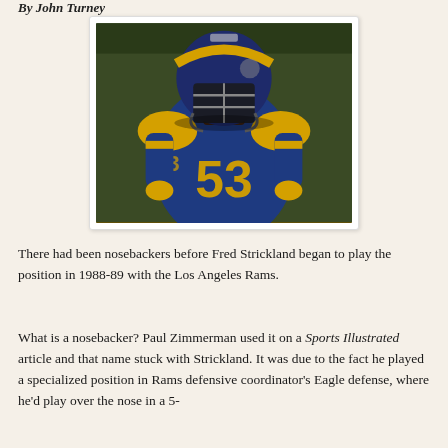By John Turney
[Figure (photo): Football player wearing Los Angeles Rams uniform number 53 (Fred Strickland), in blue and gold jersey with helmet, standing on field]
There had been nosebackers before Fred Strickland began to play the position in 1988-89 with the Los Angeles Rams.
What is a nosebacker? Paul Zimmerman used it on a Sports Illustrated article and that name stuck with Strickland. It was due to the fact he played a specialized position in Rams defensive coordinator's Eagle defense, where he'd play over the nose in a 5-